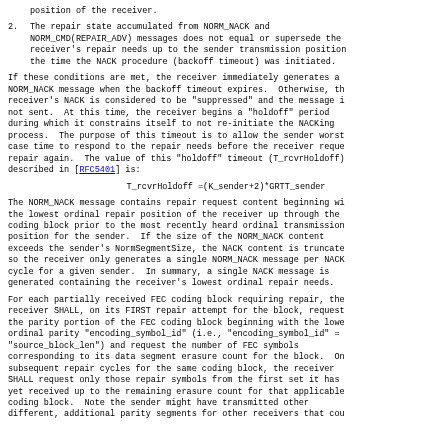position of the receiver.
2. The repair state accumulated from NORM_NACK and NORM_CMD(REPAIR_ADV) messages does not equal or supersede the receiver's repair needs up to the sender transmission position at the time the NACK procedure (backoff timeout) was initiated.
If these conditions are met, the receiver immediately generates a NORM_NACK message when the backoff timeout expires.  Otherwise, the receiver's NACK is considered to be "suppressed" and the message is not sent.  At this time, the receiver begins a "holdoff" period during which it constrains itself to not re-initiate the NACKing process.  The purpose of this timeout is to allow the sender worst case time to respond to the repair needs before the receiver requests repair again.  The value of this "holdoff" timeout (T_rcvrHoldoff) described in [RFC5401] is:
The NORM_NACK message contains repair request content beginning with the lowest ordinal repair position of the receiver up through the coding block prior to the most recently heard ordinal transmission position for the sender.  If the size of the NORM_NACK content exceeds the sender's NormSegmentSize, the NACK content is truncated so the receiver only generates a single NORM_NACK message per NACK cycle for a given sender.  In summary, a single NACK message is generated containing the receiver's lowest ordinal repair needs.
For each partially received FEC coding block requiring repair, the receiver SHALL, on its FIRST repair attempt for the block, request the parity portion of the FEC coding block beginning with the lowest ordinal parity "encoding_symbol_id" (i.e., "encoding_symbol_id" = "source_block_len") and request the number of FEC symbols corresponding to its data segment erasure count for the block.  On subsequent repair cycles for the same coding block, the receiver SHALL request only those repair symbols from the first set it has yet received up to the remaining erasure count for that applicable coding block.  Note the sender might have transmitted other different, additional parity segments for other receivers that cou